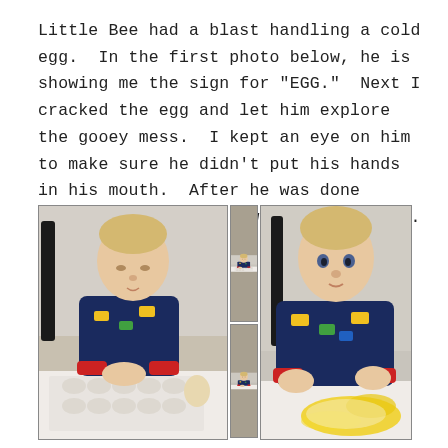Little Bee had a blast handling a cold egg.  In the first photo below, he is showing me the sign for "EGG."  Next I cracked the egg and let him explore the gooey mess.  I kept an eye on him to make sure he didn't put his hands in his mouth.  After he was done exploring the egg, I washed his hands.
[Figure (photo): Four photos of a baby boy in a navy blue dinosaur/truck pajama onesie with red cuffs, sitting in a high chair. Left large photo: baby looking down at an egg carton with one egg, hands clasped together. Top center: baby looking down at egg carton, leaning forward. Bottom center: baby looking down, smaller view. Right large photo: baby looking at camera with hands raised, cracked egg yolk visible on tray.]